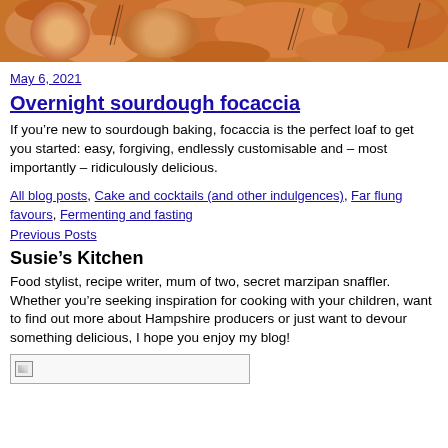[Figure (photo): Close-up photo of baked focaccia bread with golden-brown surface and rosemary herb sprigs]
May 6, 2021
Overnight sourdough focaccia
If you’re new to sourdough baking, focaccia is the perfect loaf to get you started: easy, forgiving, endlessly customisable and – most importantly – ridiculously delicious.
All blog posts, Cake and cocktails (and other indulgences), Far flung favours, Fermenting and fasting
Previous Posts
Susie’s Kitchen
Food stylist, recipe writer, mum of two, secret marzipan snaffler. Whether you’re seeking inspiration for cooking with your children, want to find out more about Hampshire producers or just want to devour something delicious, I hope you enjoy my blog!
[Figure (photo): Broken/missing image placeholder]